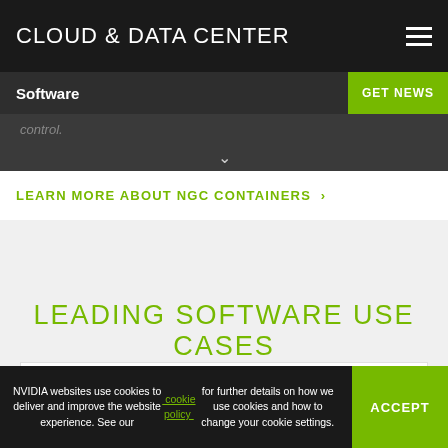CLOUD & DATA CENTER
Software
control.
LEARN MORE ABOUT NGC CONTAINERS ›
LEADING SOFTWARE USE CASES
Conversational AI
NVIDIA websites use cookies to deliver and improve the website experience. See our cookie policy for further details on how we use cookies and how to change your cookie settings.
ACCEPT